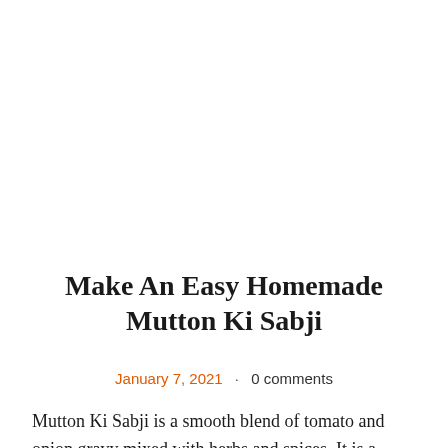Make An Easy Homemade Mutton Ki Sabji
January 7, 2021 · 0 comments
Mutton Ki Sabji is a smooth blend of tomato and onion gravy mixed with herbs and spices. It is a creamy dish with...